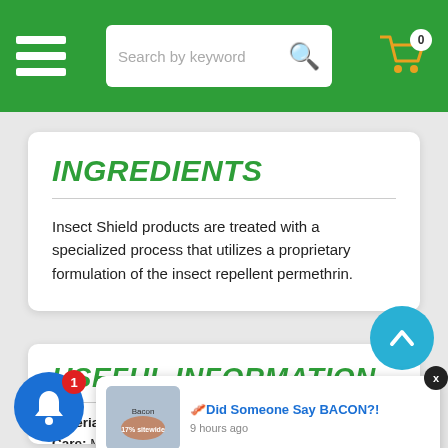Search by keyword | 0
INGREDIENTS
Insect Shield products are treated with a specialized process that utilizes a proprietary formulation of the insect repellent permethrin.
USEFUL INFORMATION
Materials: She... polyester, 35%... Care: Machine... Caution: Do not re-treat with other permethrin repellent products.
[Figure (screenshot): Popup notification banner showing a bacon-themed advertisement with text 'Did Someone Say BACON?!' and timestamp '9 hours ago']